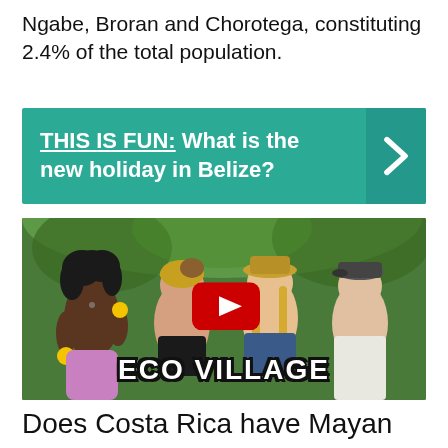Ngabe, Broran and Chorotega, constituting 2.4% of the total population.
[Figure (infographic): Teal banner with text: THIS IS FUN: What is the new holiday in Belize? with a right-arrow chevron on the right side.]
[Figure (photo): Video thumbnail showing four people smiling outdoors in a jungle/eco setting, one holding fruits, with a YouTube play button overlay and ECO VILLAGE text at the bottom.]
Does Costa Rica have Mayan ruins?